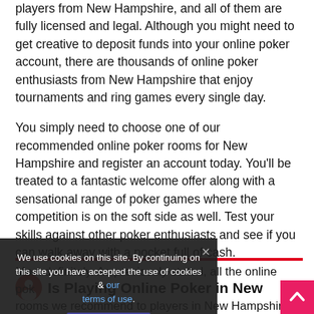players from New Hampshire, and all of them are fully licensed and legal. Although you might need to get creative to deposit funds into your online poker account, there are thousands of online poker enthusiasts from New Hampshire that enjoy tournaments and ring games every single day.
You simply need to choose one of our recommended online poker rooms for New Hampshire and register an account today. You'll be treated to a fantastic welcome offer along with a sensational range of poker games where the competition is on the soft side as well. Test your skills against other poker enthusiasts and see if you can walk away with a pocket full of cash.
Is Playing Online Poker in New
Most definitely. As previously stated, all the online poker rooms we recommend to players in New Hampshire are fully licensed and regulated by regulatory bodies that